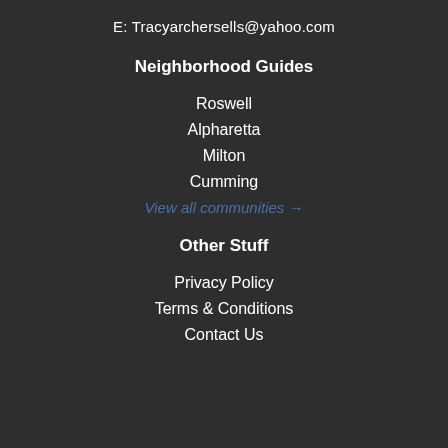E: Tracyarchersells@yahoo.com
Neighborhood Guides
Roswell
Alpharetta
Milton
Cumming
View all communities →
Other Stuff
Privacy Policy
Terms & Conditions
Contact Us